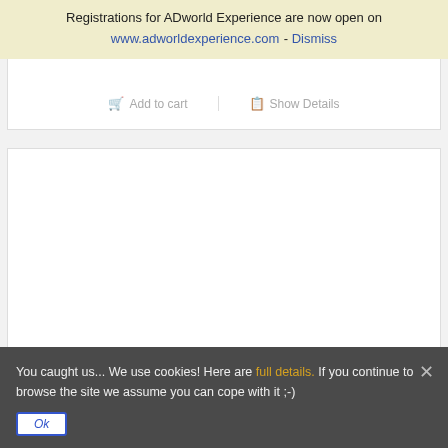Registrations for ADworld Experience are now open on www.adworldexperience.com - Dismiss
[Figure (screenshot): White card with partially visible title text at top and Add to cart / Show Details buttons at bottom]
[Figure (screenshot): White card with empty content area]
You caught us... We use cookies! Here are full details. If you continue to browse the site we assume you can cope with it ;-)
Ok